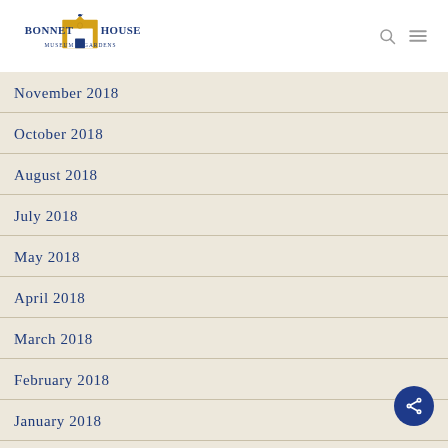Bonnet House Museum & Gardens
November 2018
October 2018
August 2018
July 2018
May 2018
April 2018
March 2018
February 2018
January 2018